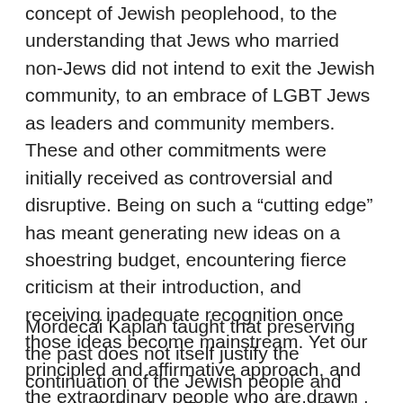concept of Jewish peoplehood, to the understanding that Jews who married non-Jews did not intend to exit the Jewish community, to an embrace of LGBT Jews as leaders and community members. These and other commitments were initially received as controversial and disruptive. Being on such a “cutting edge” has meant generating new ideas on a shoestring budget, encountering fierce criticism at their introduction, and receiving inadequate recognition once those ideas become mainstream. Yet our principled and affirmative approach, and the extraordinary people who are drawn to it, demonstrate how Jewish life and the Jewish people can flourish in an open society.
Mordecai Kaplan taught that preserving the past does not itself justify the continuation of the Jewish people and Jewish civilization. To remain vital, Jewish